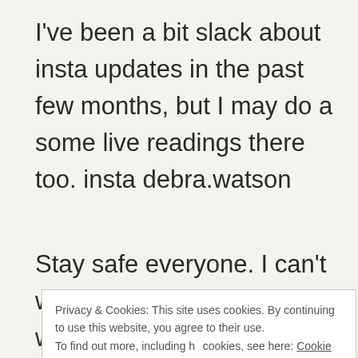I've been a bit slack about insta updates in the past few months, but I may do a some live readings there too. insta debra.watson
Stay safe everyone. I can't wait to be able to meet up with people in
Privacy & Cookies: This site uses cookies. By continuing to use this website, you agree to their use.
To find out more, including h cookies, see here: Cookie Po
Close and accept